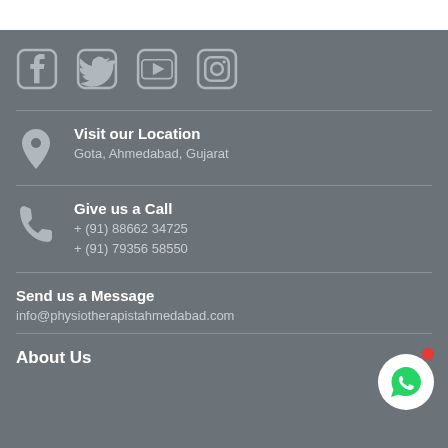[Figure (illustration): Social media icons row: Facebook, Twitter, YouTube, Instagram]
Visit our Location
Gota, Ahmedabad, Gujarat
Give us a Call
+ (91) 88662 34725
+ (91) 79356 58550
Send us a Message
info@physiotherapistahmedabad.com
[Figure (illustration): WhatsApp button icon (green) with red notification dot]
About Us